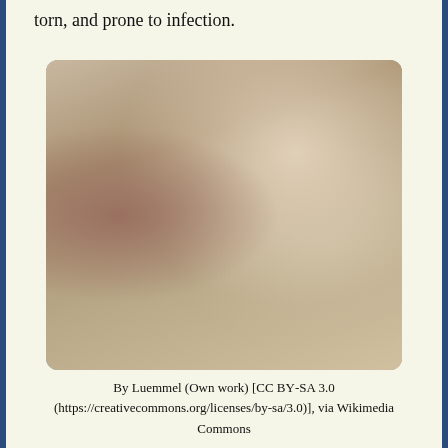torn, and prone to infection.
[Figure (photo): Medical photograph showing electrostimulation device applied to male genitalia, with wires and clips connected to a handheld TENS-style device held in a hand.]
By Luemmel (Own work) [CC BY-SA 3.0 (https://creativecommons.org/licenses/by-sa/3.0)], via Wikimedia Commons